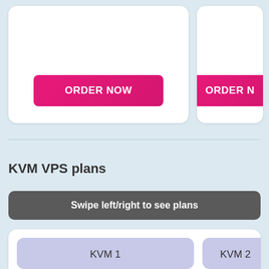[Figure (screenshot): Two pricing cards each with an ORDER NOW button (pink/magenta), partially cut off on right]
KVM VPS plans
Swipe left/right to see plans
[Figure (screenshot): Two KVM plan cards: KVM 1 at $6.00/mo and KVM 2 at $12.00, partially cut off on right]